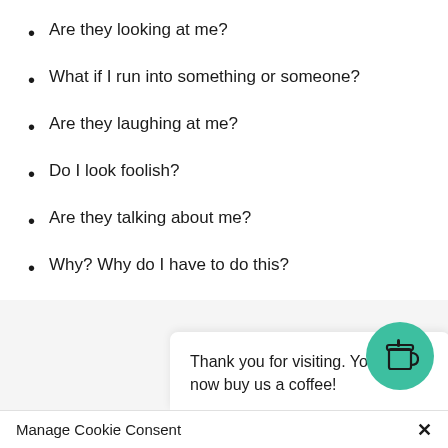Are they looking at me?
What if I run into something or someone?
Are they laughing at me?
Do I look foolish?
Are they talking about me?
Why? Why do I have to do this?
On and on these and many more questions ran through my head. I felt scared, exposed, and vulnerable. I hated vulnerability.
After my O [partially obscured] use my cane indep [partially obscured] ashed it away and c [partially obscured]
Thank you for visiting. You can now buy us a coffee!
Manage Cookie Consent